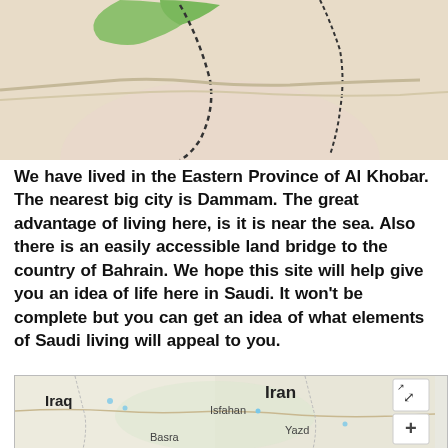[Figure (map): Partial map cropped at top showing terrain with dashed border lines and a green region at top]
We have lived in the Eastern Province of Al Khobar. The nearest big city is Dammam. The great advantage of living here, is it is near the sea. Also there is an easily accessible land bridge to the country of Bahrain. We hope this site will help give you an idea of life here in Saudi. It won't be complete but you can get an idea of what elements of Saudi living will appeal to you.
[Figure (map): Interactive map showing Middle East region with Iraq, Iran, Isfahan, Yazd, Basra labeled, with zoom controls]